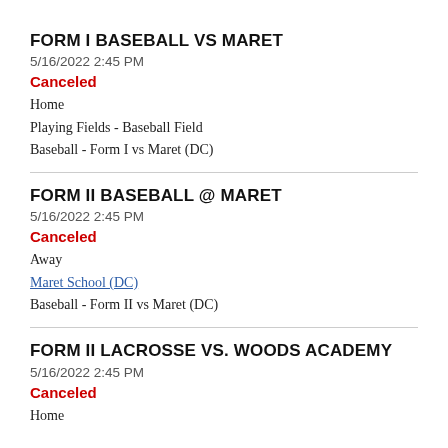FORM I BASEBALL VS MARET
5/16/2022 2:45 PM
Canceled
Home
Playing Fields - Baseball Field
Baseball - Form I vs Maret (DC)
FORM II BASEBALL @ MARET
5/16/2022 2:45 PM
Canceled
Away
Maret School (DC)
Baseball - Form II vs Maret (DC)
FORM II LACROSSE VS. WOODS ACADEMY
5/16/2022 2:45 PM
Canceled
Home